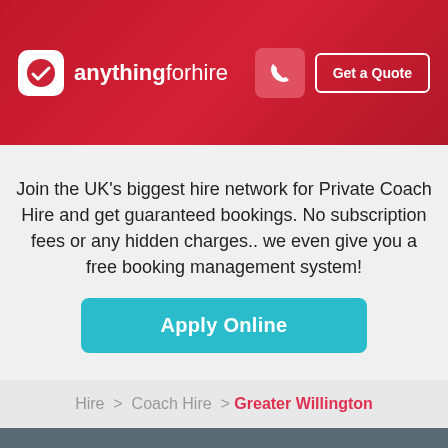[Figure (logo): anythingforhire logo with checkmark icon in white rounded square, white text on red gradient background, phone icon button and Get a Quote button]
Join the UK's biggest hire network for Private Coach Hire and get guaranteed bookings. No subscription fees or any hidden charges.. we even give you a free booking management system!
Apply Online
Hire  >  Coach Hire  >  Greater Willington
For Customers
For Partners